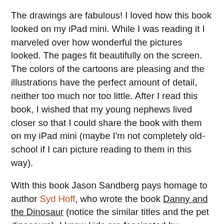The drawings are fabulous!  I loved how this book looked on my iPad mini. While I was reading it I marveled over how wonderful the pictures looked. The pages fit beautifully on the screen.  The colors of the cartoons are pleasing and the illustrations have the perfect amount of detail, neither too much nor too little.  After I read this book, I wished that my young nephews lived closer so that I could share the book with them on my iPad mini (maybe I'm not completely old-school if I can picture reading to them in this way).
With this book Jason Sandberg pays homage to author Syd Hoff, who wrote the book Danny and the Dinosaur (notice the similar titles and the pet dinosaurs).  I know kids are fascinated by dinosaurs and that many kids would probably like to have them as pets. (When I was a child, I longed to have a chimpanzee as a pet, but that's a story for another day.)
I'm sure this book would stimulate the imaginations of young children.  As a child I loved looking at picture books, and I still remember the impact they had on me. I wanted to stare